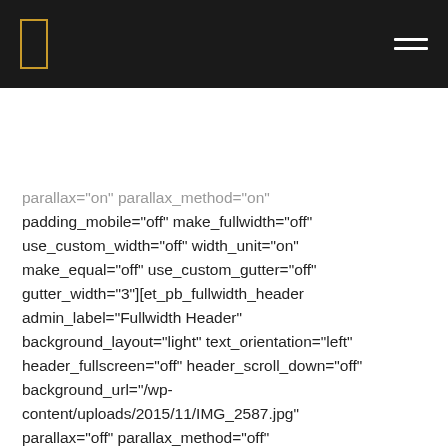[navigation bar with logo bracket and hamburger menu]
parallax="on" parallax_method="on" padding_mobile="off" make_fullwidth="off" use_custom_width="off" width_unit="on" make_equal="off" use_custom_gutter="off" gutter_width="3"][et_pb_fullwidth_header admin_label="Fullwidth Header" background_layout="light" text_orientation="left" header_fullscreen="off" header_scroll_down="off" background_url="/wp-content/uploads/2015/11/IMG_2587.jpg" parallax="off" parallax_method="off" logo_image_url="/wp-content/uploads/2015/11/logo_1.png" content_orientation="center" image_orientation="bottom" custom_button_one="off" button_one_text_size="20" button_one_border_width="2"